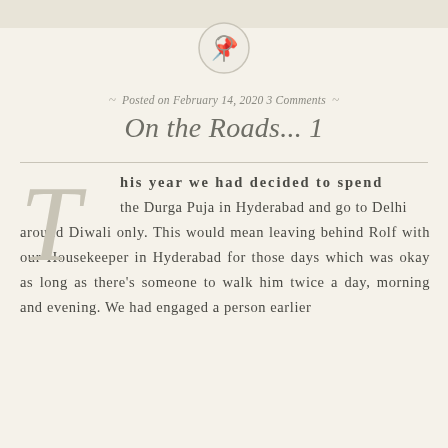[Figure (illustration): Circular pin/pushpin icon with a grey border, centered near the top of the page]
Posted on February 14, 2020 3 Comments
On the Roads... 1
This year we had decided to spend the Durga Puja in Hyderabad and go to Delhi around Diwali only. This would mean leaving behind Rolf with our Housekeeper in Hyderabad for those days which was okay as long as there’s someone to walk him twice a day, morning and evening. We had engaged a person earlier